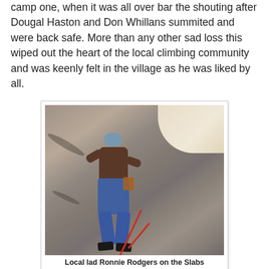camp one, when it was all over bar the shouting after Dougal Haston and Don Whillans summited and were back safe. More than any other sad loss this wiped out the heart of the local climbing community and was keenly felt in the village as he was liked by all.
[Figure (photo): A climber wearing a blue helmet, brown top, and blue jeans with rolled-up cuffs, climbing a steep rock slab. The climber is harnessed with gear and a red rope is visible. The rock face is light-coloured granite or similar. Sky is visible in the upper right corner.]
Local lad Ronnie Rodgers on the Slabs